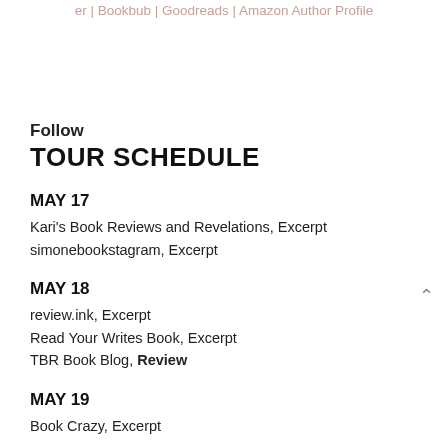er | Bookbub | Goodreads | Amazon Author Profile
Follow
TOUR SCHEDULE
MAY 17
Kari's Book Reviews and Revelations, Excerpt
simonebookstagram, Excerpt
MAY 18
review.ink, Excerpt
Read Your Writes Book, Excerpt
TBR Book Blog, Review
MAY 19
Book Crazy, Excerpt